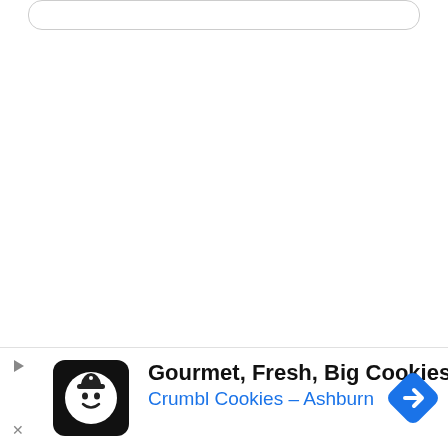[Figure (screenshot): Rounded rectangle input/search box at top of page, partially visible]
Analysis: Petry just inked a big extension of four 020. However, general was the man who signed
[Figure (photo): Hockey crowd image with players in red jerseys, partially obscured by advertisement overlay]
[Figure (screenshot): Advertisement banner: Gourmet, Fresh, Big Cookies - Crumbl Cookies - Ashburn, with cookie logo and blue navigation icon]